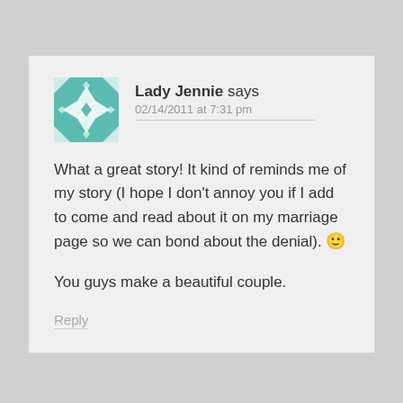[Figure (illustration): Teal and white geometric quilt-pattern avatar icon for user Lady Jennie]
Lady Jennie says
02/14/2011 at 7:31 pm
What a great story! It kind of reminds me of my story (I hope I don't annoy you if I add to come and read about it on my marriage page so we can bond about the denial). 🙂
You guys make a beautiful couple.
Reply